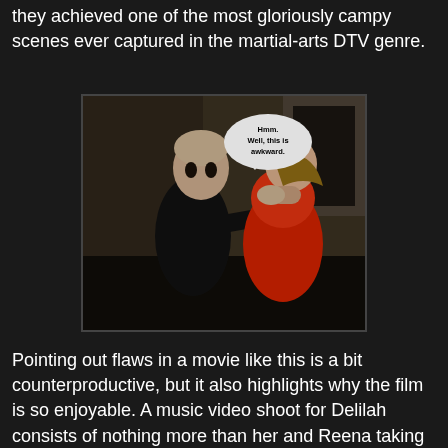they achieved one of the most gloriously campy scenes ever captured in the martial-arts DTV genre.
[Figure (photo): A movie still showing a man in a black shirt gripping a woman in a red satin dress by the throat. A speech bubble added to the image reads: 'Hmm. Well, this is awkward.']
Pointing out flaws in a movie like this is a bit counterproductive, but it also highlights why the film is so enjoyable. A music video shoot for Delilah consists of nothing more than her and Reena taking their tops off and lip-syncing in a room full of mannequins. Yes, the mannequins are both blindfolded and naked. At one point, Reena totally calls for him "Maria" instead of her...